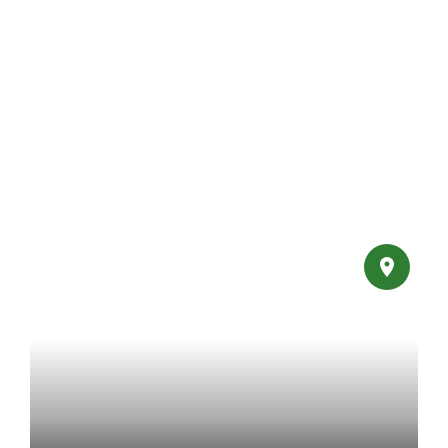Price Reduced
[Figure (photo): RV listing card image area with gradient overlay showing price $30,000 and a green location pin button]
$30,000
Rv for Sale